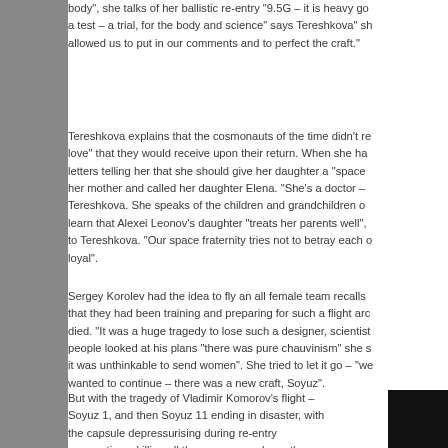body", she talks of her ballistic re-entry "9.5G – it is heavy go a test – a trial, for the body and science" says Tereshkova" sh allowed us to put in our comments and to perfect the craft."
Tereshkova explains that the cosmonauts of the time didn't re love" that they would receive upon their return. When she ha letters telling her that she should give her daughter a "space her mother and called her daughter Elena. "She's a doctor – Tereshkova. She speaks of the children and grandchildren o learn that Alexei Leonov's daughter "treats her parents well", to Tereshkova. "Our space fraternity tries not to betray each o loyal".
Sergey Korolev had the idea to fly an all female team recalls that they had been training and preparing for such a flight arc died. "It was a huge tragedy to lose such a designer, scientist people looked at his plans "there was pure chauvinism" she s it was unthinkable to send women". She tried to let it go – "we wanted to continue – there was a new craft, Soyuz".
But with the tragedy of Vladimir Komorov's flight – Soyuz 1, and then Soyuz 11 ending in disaster, with the capsule depressurising during re-entry preparations, killing all three crew members, the female cosmonauts were told "we won't be risking your lives". They were dismissed. "This is our sad story" says Tereshkova.
[Figure (photo): Dark/black photograph partially visible at bottom right corner of the page]